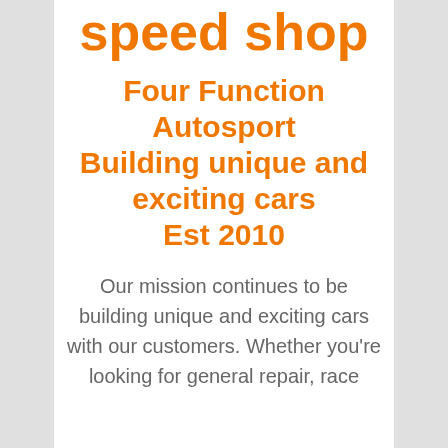speed shop
Four Function Autosport Building unique and exciting cars Est 2010
Our mission continues to be building unique and exciting cars with our customers. Whether you're looking for general repair, race